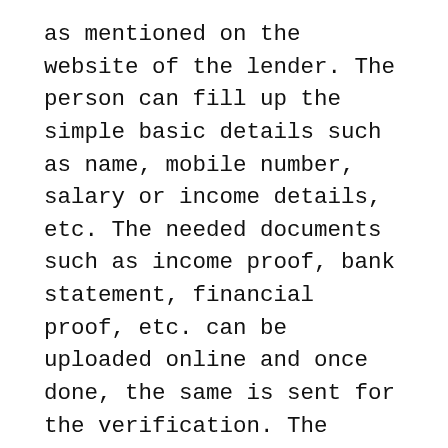as mentioned on the website of the lender. The person can fill up the simple basic details such as name, mobile number, salary or income details, etc. The needed documents such as income proof, bank statement, financial proof, etc. can be uploaded online and once done, the same is sent for the verification. The lender verifies the details and sends the same for the approval. Once, the loan gets approved, the loan agreements get signed between the lender and the borrower. After this step, the coordination for the loan disbursement starts and the borrower gets the amount credited in the account.
The lenders provide the constant support to the people who avails the facility of the loan. Also, they try to help the person understand about